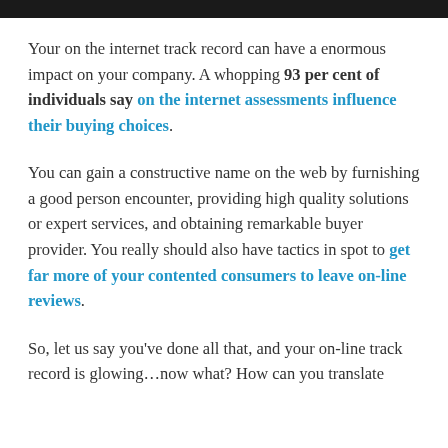Your on the internet track record can have a enormous impact on your company. A whopping 93 per cent of individuals say on the internet assessments influence their buying choices.
You can gain a constructive name on the web by furnishing a good person encounter, providing high quality solutions or expert services, and obtaining remarkable buyer provider. You really should also have tactics in spot to get far more of your contented consumers to leave on-line reviews.
So, let us say you've done all that, and your on-line track record is glowing…now what? How can you translate